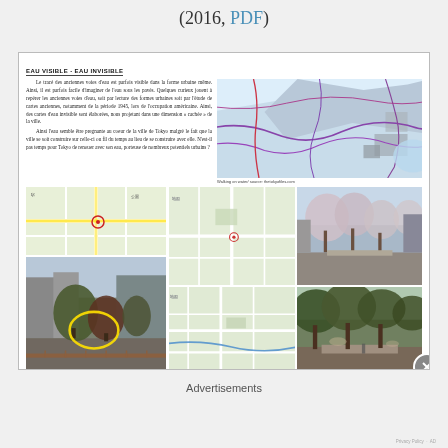(2016, PDF)
EAU VISIBLE - EAU INVISIBLE
Le tracé des anciennes voies d'eau est parfois visible dans la forme urbaine même. Ainsi, il est parfois facile d'imaginer de l'eau sous les pavés. Quelques curieux jouent à repérer les anciennes voies d'eau, soit par lecture des formes urbaines soit par l'étude de cartes anciennes, notamment de la période 1945, lors de l'occupation américaine. Ainsi, des cartes d'eau invisible sont élaborées, nous projetant dans une dimension « cachée » de la ville. Ainsi l'eau semble être pregnante au coeur de la ville de Tokyo malgré le fait que la ville se soit construire sur celle-ci ou fil du temps au lieu de se construire avec elle. N'est-il pas temps pour Tokyo de renouer avec son eau, porteuse de nombreux potentiels urbains ?
[Figure (map): Map of Tokyo waterways overlay showing rivers and water routes in purple/red lines on light background]
Walking on water/ source: thetokyofiles.com
[Figure (map): Google map of Tokyo street area with yellow highlighted roads]
[Figure (photo): Street view photo of urban area with vegetation and circular highlight]
[Figure (map): Small map detail of Tokyo area]
[Figure (photo): Street photo with trees in bloom]
[Figure (map): Map detail of Tokyo neighborhood]
[Figure (photo): Park path with green trees]
Advertisements